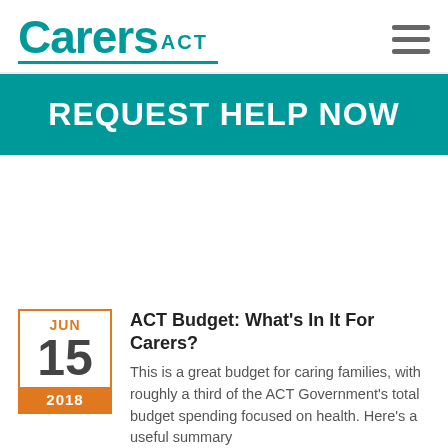[Figure (logo): Carers ACT logo with teal text and underline]
REQUEST HELP NOW
ACT Budget: What's In It For Carers?
This is a great budget for caring families, with roughly a third of the ACT Government's total budget spending focused on health. Here's a useful summary